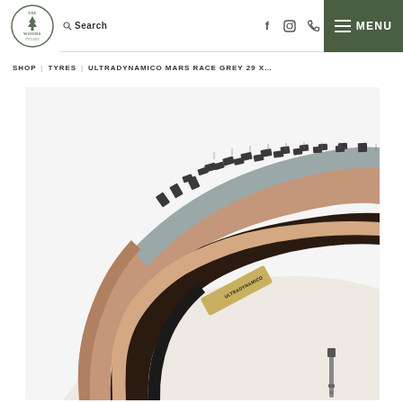The Woods Cyclery — Search | Facebook | Instagram | Phone | MENU
SHOP | TYRES | ULTRADYNAMICO MARS RACE GREY 29 X...
[Figure (photo): Close-up photo of an Ultradynamico Mars Race mountain bike tyre with grey tread, tan/brown sidewall, black bead, and visible valve stem. The tyre is shown folded/standing on a white background.]